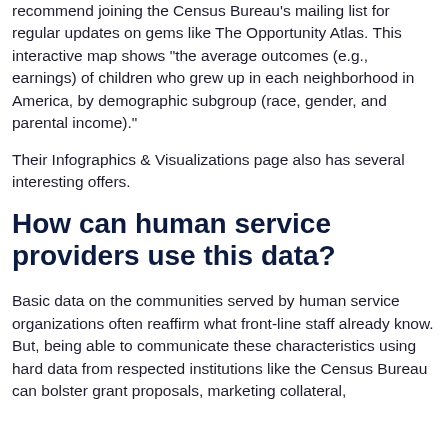recommend joining the Census Bureau's mailing list for regular updates on gems like The Opportunity Atlas. This interactive map shows "the average outcomes (e.g., earnings) of children who grew up in each neighborhood in America, by demographic subgroup (race, gender, and parental income)."
Their Infographics & Visualizations page also has several interesting offers.
How can human service providers use this data?
Basic data on the communities served by human service organizations often reaffirm what front-line staff already know. But, being able to communicate these characteristics using hard data from respected institutions like the Census Bureau can bolster grant proposals, marketing collateral,